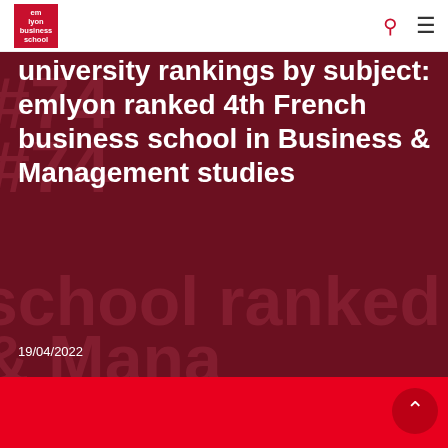[Figure (logo): emlyon business school logo — red square with white text]
university rankings by subject: emlyon ranked 4th French business school in Business & Management studies
19/04/2022
NEWS
2022 HappyAtSchool®: